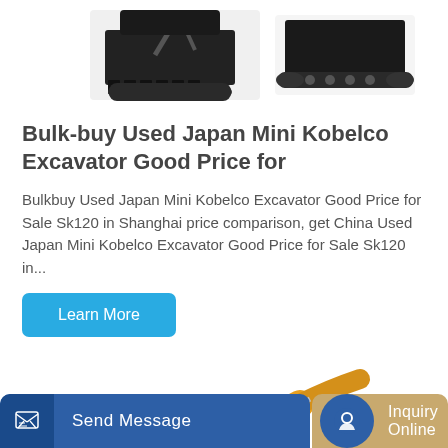[Figure (photo): Top portion of page showing two mini excavator/construction machine images on white background]
Bulk-buy Used Japan Mini Kobelco Excavator Good Price for
Bulkbuy Used Japan Mini Kobelco Excavator Good Price for Sale Sk120 in Shanghai price comparison, get China Used Japan Mini Kobelco Excavator Good Price for Sale Sk120 in...
Learn More
[Figure (photo): Bottom portion showing a yellow XCMG excavator arm/boom in action]
Send Message | Inquiry Online